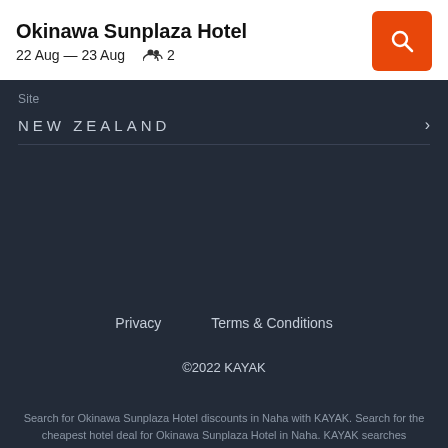Okinawa Sunplaza Hotel
22 Aug — 23 Aug   2
Site
NEW ZEALAND
Privacy   Terms & Conditions
©2022 KAYAK
Search for Okinawa Sunplaza Hotel discounts in Naha with KAYAK. Search for the cheapest hotel deal for Okinawa Sunplaza Hotel in Naha. KAYAK searches hundreds of travel sites to help you find and book the hotel deal at Okinawa Sunplaza Hotel that suits you best. $80 per night (Latest starting price for this hotel).